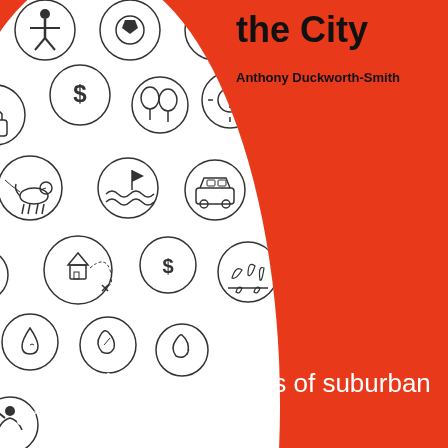the City
Anthony Duckworth-Smith
[Figure (illustration): Large white oval/circle on red background filled with circular icon illustrations depicting various urban and suburban life concepts: people, trees, dogs, cars, buildings, money, sports, nature, health, transit, and other lifestyle symbols drawn in a minimal line-art style.]
Combining the qualities of suburban and urban living